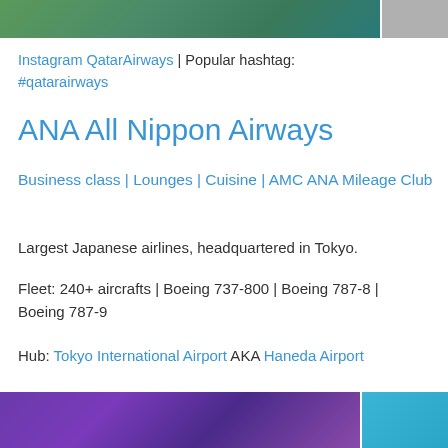[Figure (photo): Top partial image showing green/teal aerial or water scene, partially cut off]
Instagram QatarAirways | Popular hashtag: #qatarairways
ANA All Nippon Airways
Business class | Lounges | Cuisine | AMC ANA Mileage Club
Largest Japanese airlines, headquartered in Tokyo.
Fleet: 240+ aircrafts | Boeing 737-800 | Boeing 787-8 | Boeing 787-9
Hub: Tokyo International Airport AKA Haneda Airport
[Figure (photo): Bottom partial image showing purple/blue scene with silhouetted figures under UV light, and a teal image on the right]